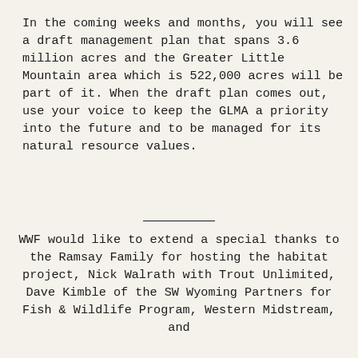In the coming weeks and months, you will see a draft management plan that spans 3.6 million acres and the Greater Little Mountain area which is 522,000 acres will be part of it. When the draft plan comes out, use your voice to keep the GLMA a priority into the future and to be managed for its natural resource values.
WWF would like to extend a special thanks to the Ramsay Family for hosting the habitat project, Nick Walrath with Trout Unlimited, Dave Kimble of the SW Wyoming Partners for Fish & Wildlife Program, Western Midstream, and